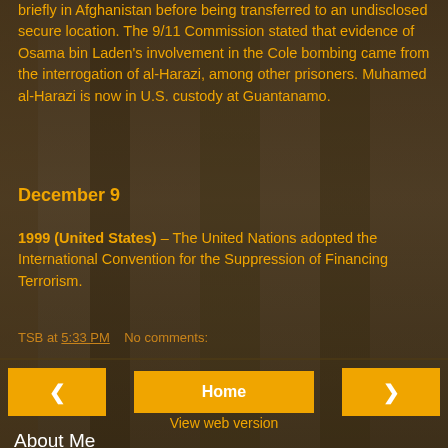briefly in Afghanistan before being transferred to an undisclosed secure location. The 9/11 Commission stated that evidence of Osama bin Laden's involvement in the Cole bombing came from the interrogation of al-Harazi, among other prisoners. Muhamed al-Harazi is now in U.S. custody at Guantanamo.
December 9
1999 (United States) – The United Nations adopted the International Convention for the Suppression of Financing Terrorism.
TSB at 5:33 PM    No comments:
Home
View web version
About Me
TSB